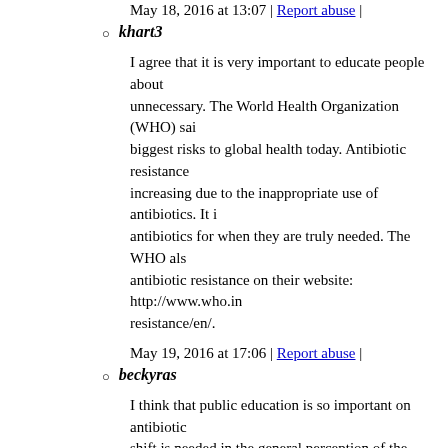May 18, 2016 at 13:07 | Report abuse |
khart3
I agree that it is very important to educate people about unnecessary. The World Health Organization (WHO) said biggest risks to global health today. Antibiotic resistance increasing due to the inappropriate use of antibiotics. It antibiotics for when they are truly needed. The WHO als antibiotic resistance on their website: http://www.who.in resistance/en/.
May 19, 2016 at 17:06 | Report abuse |
beckyras
I think that public education is so important on antibiotic shift is needed in the general perception of the public in
May 24, 2016 at 20:58 | Report abuse |
37. lizharding801
I agree with Cindy. Even though it takes more time, and is often should not prescribe antibiotics unless clearly indicated.
May 23, 2016 at 13:08 | Report abuse | Reply
38. Stacy